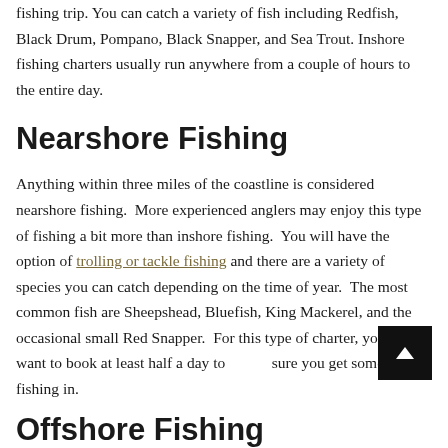fishing trip. You can catch a variety of fish including Redfish, Black Drum, Pompano, Black Snapper, and Sea Trout. Inshore fishing charters usually run anywhere from a couple of hours to the entire day.
Nearshore Fishing
Anything within three miles of the coastline is considered nearshore fishing.  More experienced anglers may enjoy this type of fishing a bit more than inshore fishing.  You will have the option of trolling or tackle fishing and there are a variety of species you can catch depending on the time of year.  The most common fish are Sheepshead, Bluefish, King Mackerel, and the occasional small Red Snapper.  For this type of charter, you will want to book at least half a day to sure you get some good fishing in.
Offshore Fishing